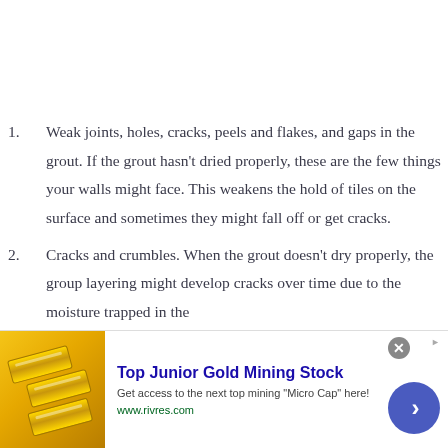Weak joints, holes, cracks, peels and flakes, and gaps in the grout. If the grout hasn't dried properly, these are the few things your walls might face. This weakens the hold of tiles on the surface and sometimes they might fall off or get cracks.
Cracks and crumbles. When the grout doesn't dry properly, the group layering might develop cracks over time due to the moisture trapped in the
[Figure (other): Advertisement banner: Top Junior Gold Mining Stock. Get access to the next top mining 'Micro Cap' here! www.rivres.com. Shows gold bars image on left and a blue arrow button on right.]